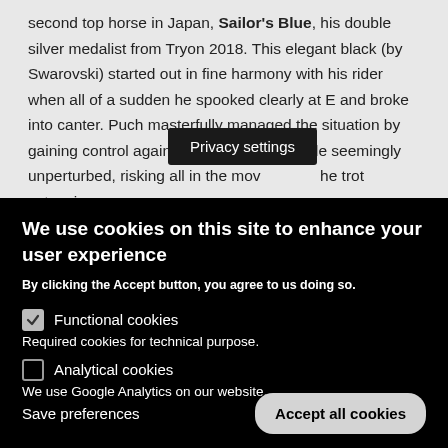second top horse in Japan, Sailor's Blue, his double silver medalist from Tryon 2018. This elegant black (by Swarovski) started out in fine harmony with his rider when all of a sudden he spooked clearly at E and broke into canter. Puch masterfully managed the situation by gaining control again and continued his ride seemingly unperturbed, risking all in the mov... he trot extensions
Privacy settings
We use cookies on this site to enhance your user experience
By clicking the Accept button, you agree to us doing so.
Functional cookies
Required cookies for technical purpose.
Analytical cookies
We use Google Analytics on our website.
Save preferences
Accept all cookies